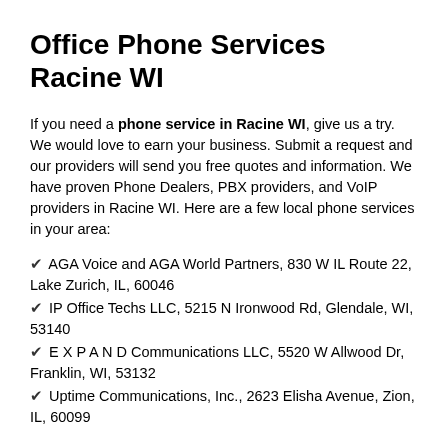Office Phone Services Racine WI
If you need a phone service in Racine WI, give us a try. We would love to earn your business. Submit a request and our providers will send you free quotes and information. We have proven Phone Dealers, PBX providers, and VoIP providers in Racine WI. Here are a few local phone services in your area:
AGA Voice and AGA World Partners, 830 W IL Route 22, Lake Zurich, IL, 60046
IP Office Techs LLC, 5215 N Ironwood Rd, Glendale, WI, 53140
E X P A N D Communications LLC, 5520 W Allwood Dr, Franklin, WI, 53132
Uptime Communications, Inc., 2623 Elisha Avenue, Zion, IL, 60099